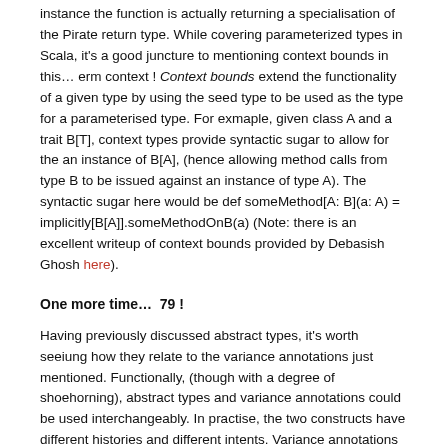instance the function is actually returning a specialisation of the Pirate return type. While covering parameterized types in Scala, it's a good juncture to mentioning context bounds in this… erm context ! Context bounds extend the functionality of a given type by using the seed type to be used as the type for a parameterised type. For exmaple, given class A and a trait B[T], context types provide syntactic sugar to allow for the an instance of B[A], (hence allowing method calls from type B to be issued against an instance of type A). The syntactic sugar here would be def someMethod[A: B](a: A) = implicitly[B[A]].someMethodOnB(a) (Note: there is an excellent writeup of context bounds provided by Debasish Ghosh here).
One more time…  79 !
Having previously discussed abstract types, it's worth seeiung how they relate to the variance annotations just mentioned. Functionally, (though with a degree of shoehorning), abstract types and variance annotations could be used interchangeably. In practise, the two constructs have different histories and different intents. Variance annotations essentially apply to construct decalrations and are